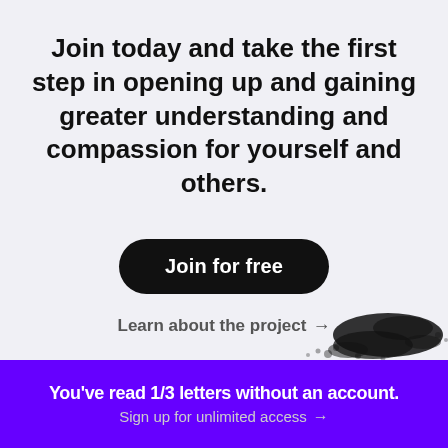Join today and take the first step in opening up and gaining greater understanding and compassion for yourself and others.
Join for free
Learn about the project →
[Figure (illustration): Ink splash / splatter decorative image in black, partially visible at lower right of main content area]
You've read 1/3 letters without an account.
Sign up for unlimited access →